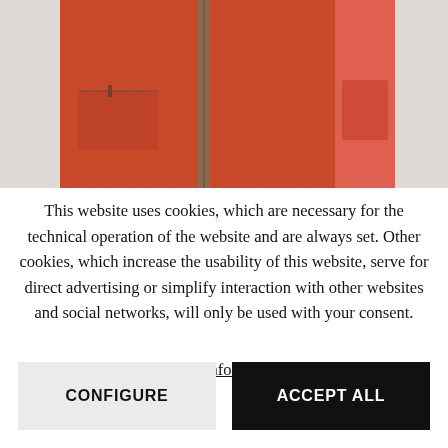[Figure (photo): Product photo of an orange/red vest with zipper, showing front and inside lining, cropped to mid-section.]
This website uses cookies, which are necessary for the technical operation of the website and are always set. Other cookies, which increase the usability of this website, serve for direct advertising or simplify interaction with other websites and social networks, will only be used with your consent.
More information
CONFIGURE
ACCEPT ALL